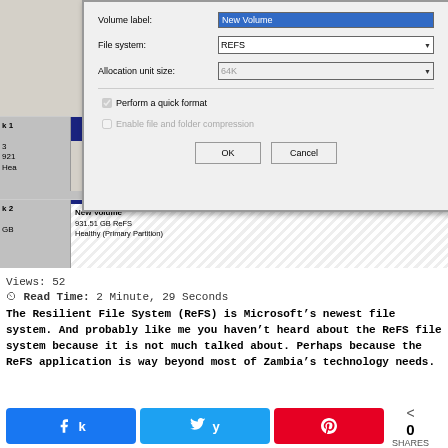[Figure (screenshot): Windows Disk Management dialog showing format options: Volume label 'New Volume' (selected/highlighted blue), File system 'REFS' dropdown, Allocation unit size '64K' dropdown, 'Perform a quick format' checkbox checked, 'Enable file and folder compression' checkbox unchecked, OK and Cancel buttons. Behind the dialog are disk management panels showing Disk 1 and Disk 2 rows with New Volume 931.51 GB ReFS Healthy (Primary Partition).]
Views: 52
Read Time: 2 Minute, 29 Seconds
The Resilient File System (ReFS) is Microsoft’s newest file system. And probably like me you haven’t heard about the ReFS file system because it is not much talked about. Perhaps because the ReFS application is way beyond most of Zambia’s technology needs.